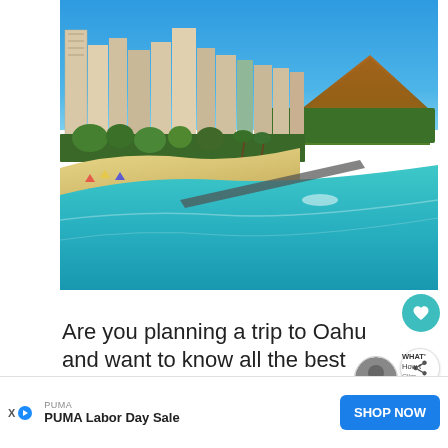[Figure (photo): Aerial view of Waikiki Beach, Oahu, Hawaii showing high-rise hotels along the beachfront, Diamond Head crater in the background, turquoise ocean water, sandy beach with beachgoers, and lush tropical vegetation.]
Are you planning a trip to Oahu and want to know all the best places to stay in Oahu?
[Figure (photo): Small circular thumbnail photo of a person or travel-related image, with text labels 'WHAT', 'How t', and a weather/temperature icon.]
PUMA
PUMA Labor Day Sale
SHOP NOW